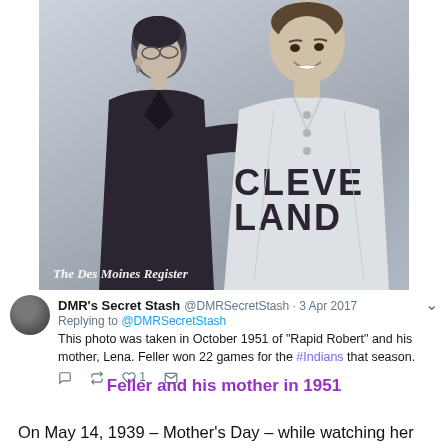[Figure (photo): Black and white photograph of a woman (left) and a man in a Cleveland Indians baseball jersey (right), looking at each other and smiling. Watermark reads 'The Des Moines Register' in the lower left corner.]
DMR's Secret Stash @DMRSecretStash · 3 Apr 2017
Replying to @DMRSecretStash
This photo was taken in October 1951 of "Rapid Robert" and his mother, Lena. Feller won 22 games for the #Indians that season.
Feller and his mother in 1951
On May 14, 1939 – Mother's Day – while watching her son pitch for the Cleveland Indians from the front row in a